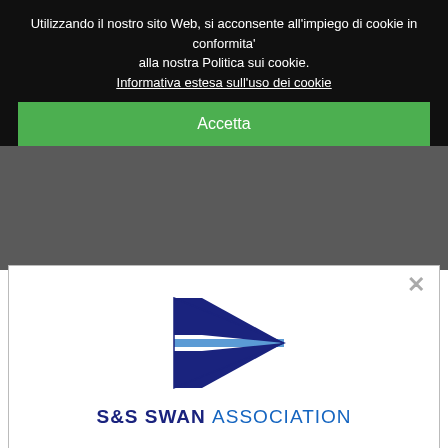Utilizzando il nostro sito Web, si acconsente all'impiego di cookie in conformita' alla nostra Politica sui cookie.
Informativa estesa sull'uso dei cookie
Accetta
[Figure (logo): S&S Swan Association pennant logo - blue triangular pennant with white cross and horizontal stripe]
S&S SWAN ASSOCIATION
Do you want to receive our newsletter?
Yes I want to subscribe!
No, don't show this message again